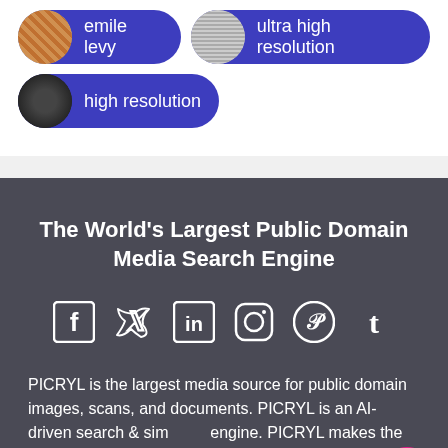emile levy
ultra high resolution
high resolution
The World's Largest Public Domain Media Search Engine
[Figure (infographic): Social media icons: Facebook, Twitter, LinkedIn, Instagram, Pinterest, Tumblr]
PICRYL is the largest media source for public domain images, scans, and documents. PICRYL is an AI-driven search & similarity engine. PICRYL makes the world's public domain media fun and easy to use.